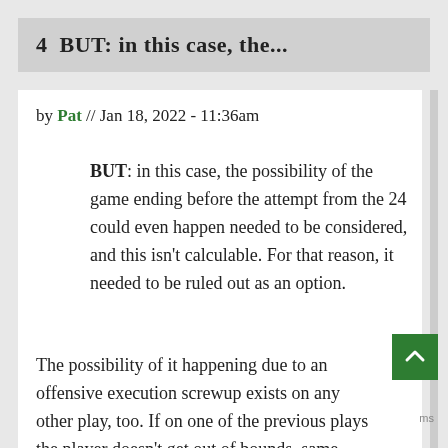4  BUT: in this case, the...
by Pat // Jan 18, 2022 - 11:36am
BUT: in this case, the possibility of the game ending before the attempt from the 24 could even happen needed to be considered, and this isn't calculable. For that reason, it needed to be ruled out as an option.
The possibility of it happening due to an offensive execution screwup exists on any other play, too. If on one of the previous plays the player doesn't get out of bounds, same problem.